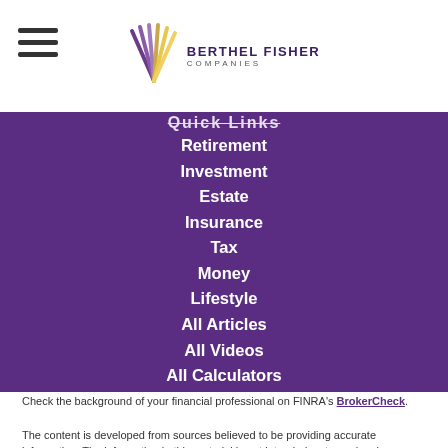Berthel Fisher Companies
Quick Links
Retirement
Investment
Estate
Insurance
Tax
Money
Lifestyle
All Articles
All Videos
All Calculators
All Presentations
Check the background of your financial professional on FINRA's BrokerCheck.
The content is developed from sources believed to be providing accurate information. The information in this material is not intended as tax or legal